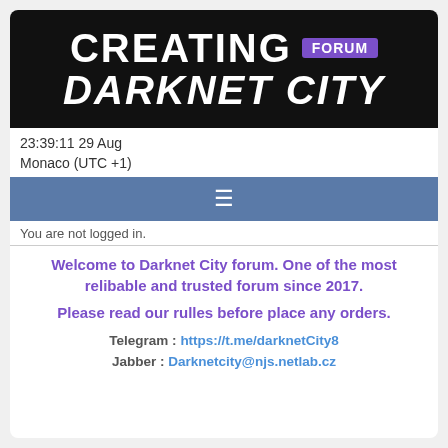[Figure (logo): Dark banner with 'CREATING FORUM DARKNET CITY' text in bold white italic letters on black background, with 'FORUM' in a purple badge]
23:39:11 29 Aug
Monaco (UTC +1)
[Figure (other): Blue navigation bar with hamburger menu icon (three horizontal lines)]
You are not logged in.
Welcome to Darknet City forum. One of the most relibable and trusted forum since 2017.
Please read our rulles before place any orders.
Telegram : https://t.me/darknetCity8
Jabber : Darknetcity@njs.netlab.cz